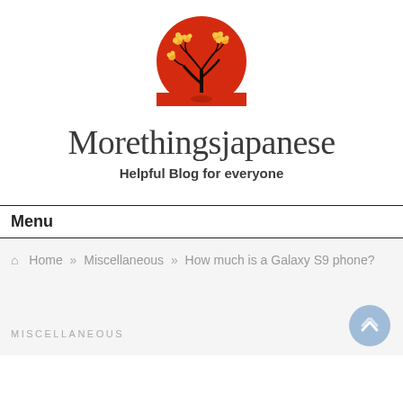[Figure (logo): Circular red logo with a bare tree silhouette and orange blossoms on a red background]
Morethingsjapanese
Helpful Blog for everyone
Menu
Home » Miscellaneous » How much is a Galaxy S9 phone?
MISCELLANEOUS